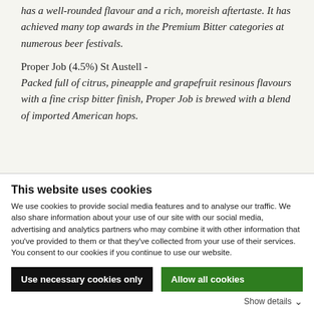has a well-rounded flavour and a rich, moreish aftertaste. It has achieved many top awards in the Premium Bitter categories at numerous beer festivals.
Proper Job (4.5%) St Austell - Packed full of citrus, pineapple and grapefruit resinous flavours with a fine crisp bitter finish, Proper Job is brewed with a blend of imported American hops.
This website uses cookies
We use cookies to provide social media features and to analyse our traffic. We also share information about your use of our site with our social media, advertising and analytics partners who may combine it with other information that you've provided to them or that they've collected from your use of their services. You consent to our cookies if you continue to use our website.
Use necessary cookies only
Allow all cookies
Show details